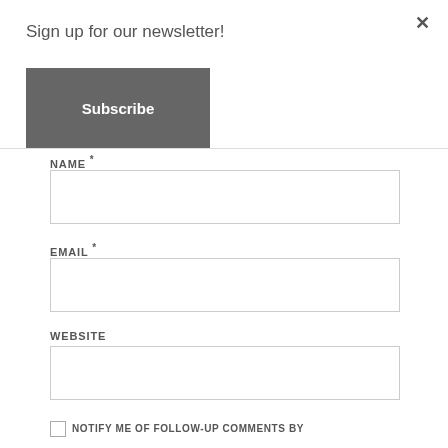×
Sign up for our newsletter!
Subscribe
NAME *
EMAIL *
WEBSITE
NOTIFY ME OF FOLLOW-UP COMMENTS BY